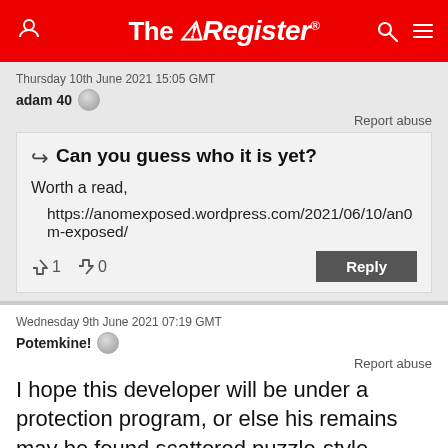The Register
Thursday 10th June 2021 15:05 GMT
adam 40
Report abuse
Can you guess who it is yet?
Worth a read,
https://anomexposed.wordpress.com/2021/06/10/an0m-exposed/
↑1  ↓0  Reply
Wednesday 9th June 2021 07:19 GMT
Potemkine!
Report abuse
I hope this developer will be under a protection program, or else his remains may be found scattered puzzle-style...